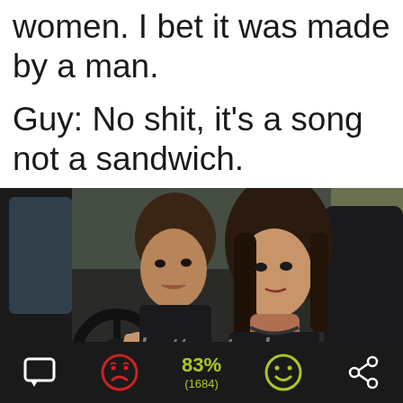women. I bet it was made by a man.
Guy: No shit, it's a song not a sandwich.
[Figure (photo): A young man and woman sitting in a car. The woman is in the driver's seat pointing at the dashboard/radio, and the man is in the passenger seat looking at her. Shutterstock watermark visible.]
[Figure (infographic): Dark bottom bar with comment icon, red sad face emoji, 83% (1684) in green text, green happy face emoji, and share icon.]